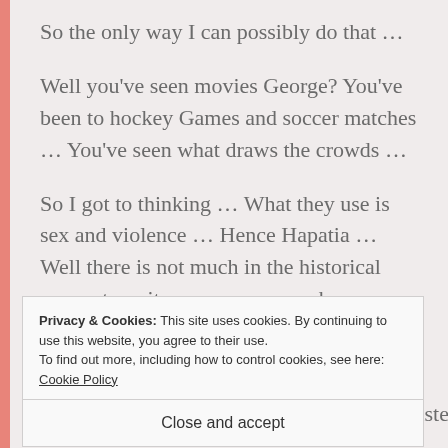So the only way I can possibly do that …
Well you've seen movies George? You've been to hockey Games and soccer matches … You've seen what draws the crowds …
So I got to thinking … What they use is sex and violence … Hence Hapatia … Well there is not much in the historical accounts so it seems we can make up whatever we want … It's done all the time George … Just take your pick of any version
Privacy & Cookies: This site uses cookies. By continuing to use this website, you agree to their use.
To find out more, including how to control cookies, see here: Cookie Policy
Close and accept
advertising and voila … We have a blockbuster